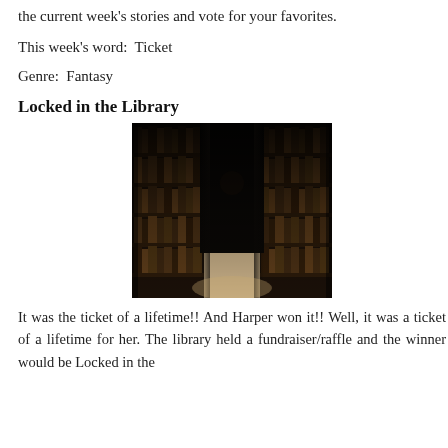the current week's stories and vote for your favorites.
This week's word:  Ticket
Genre:  Fantasy
Locked in the Library
[Figure (photo): Dark library corridor with tall bookshelves on both sides converging to a dark vanishing point, with a light-colored floor visible in the foreground.]
It was the ticket of a lifetime!! And Harper won it!! Well, it was a ticket of a lifetime for her. The library held a fundraiser/raffle and the winner would be Locked in the